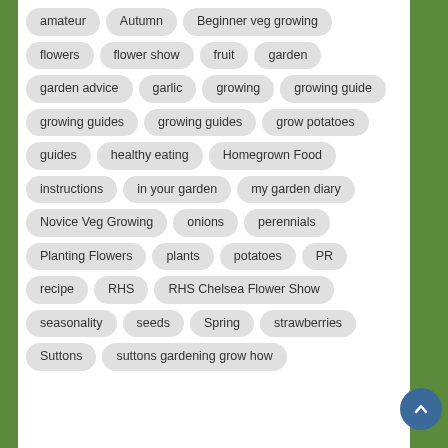amateur
Autumn
Beginner veg growing
flowers
flower show
fruit
garden
garden advice
garlic
growing
growing guide
growing guides
growing guides
grow potatoes
guides
healthy eating
Homegrown Food
instructions
in your garden
my garden diary
Novice Veg Growing
onions
perennials
Planting Flowers
plants
potatoes
PR
recipe
RHS
RHS Chelsea Flower Show
seasonality
seeds
Spring
strawberries
Suttons
suttons gardening grow how